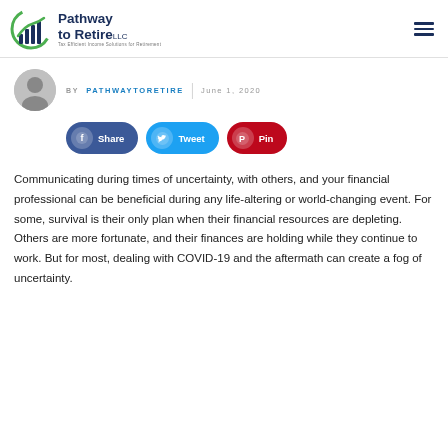Pathway to Retire LLC — Tax Efficient Income Solutions for Retirement
BY PATHWAYTORETIRE | June 1, 2020
[Figure (infographic): Social sharing buttons: Facebook Share, Twitter Tweet, Pinterest Pin]
Communicating during times of uncertainty, with others, and your financial professional can be beneficial during any life-altering or world-changing event. For some, survival is their only plan when their financial resources are depleting. Others are more fortunate, and their finances are holding while they continue to work. But for most, dealing with COVID-19 and the aftermath can create a fog of uncertainty.